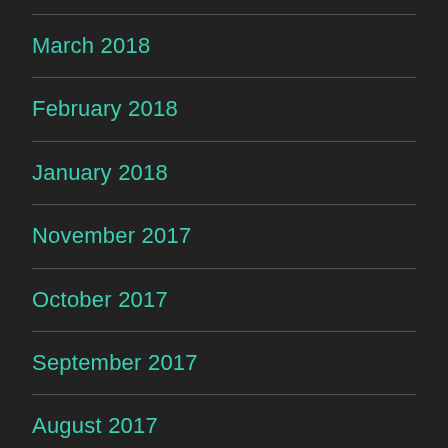March 2018
February 2018
January 2018
November 2017
October 2017
September 2017
August 2017
July 2017